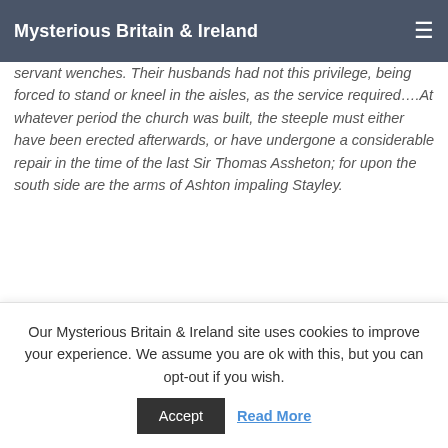Mysterious Britain & Ireland
servant wenches. Their husbands had not this privilege, being forced to stand or kneel in the aisles, as the service required….At whatever period the church was built, the steeple must either have been erected afterwards, or have undergone a considerable repair in the time of the last Sir Thomas Assheton; for upon the south side are the arms of Ashton impaling Stayley.
[Figure (photo): Photo of a Gothic stone church tower against a cloudy sky]
'A History of the County of Lancaster: Volume 4' (1911), tell sus that 'The church of ST.
Our Mysterious Britain & Ireland site uses cookies to improve your experience. We assume you are ok with this, but you can opt-out if you wish.